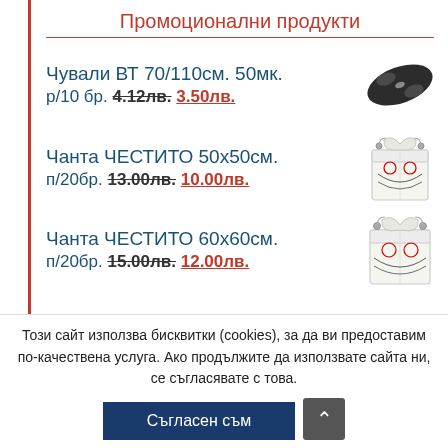Промоционални продукти
Чували ВТ 70/110см. 50мк. р/10 бр. 4.12лв. 3.50лв.
Чанта ЧЕСТИТО 50х50см. п/20бр. 13.00лв. 10.00лв.
Чанта ЧЕСТИТО 60х60см. п/20бр. 15.00лв. 12.00лв.
Този сайт използва бисквитки (cookies), за да ви предоставим по-качествена услуга. Ако продължите да използвате сайта ни, се съгласявате с това.
Съгласен съм